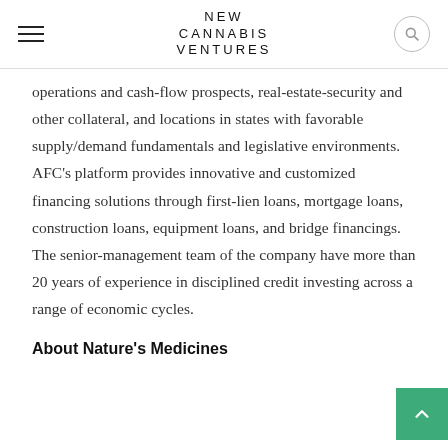NEW CANNABIS VENTURES
operations and cash-flow prospects, real-estate-security and other collateral, and locations in states with favorable supply/demand fundamentals and legislative environments. AFC’s platform provides innovative and customized financing solutions through first-lien loans, mortgage loans, construction loans, equipment loans, and bridge financings. The senior-management team of the company have more than 20 years of experience in disciplined credit investing across a range of economic cycles.
About Nature’s Medicines